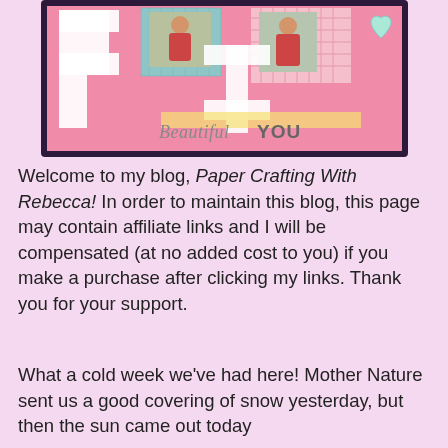[Figure (photo): A scrapbook layout on a pink background with photos of a child, patterned paper, large letter shapes, and the text 'Beautiful YOU' in script and block lettering. The layout is framed with a dark purple border.]
Welcome to my blog, Paper Crafting With Rebecca! In order to maintain this blog, this page may contain affiliate links and I will be compensated (at no added cost to you) if you make a purchase after clicking my links. Thank you for your support.
What a cold week we've had here! Mother Nature sent us a good covering of snow yesterday, but then the sun came out today